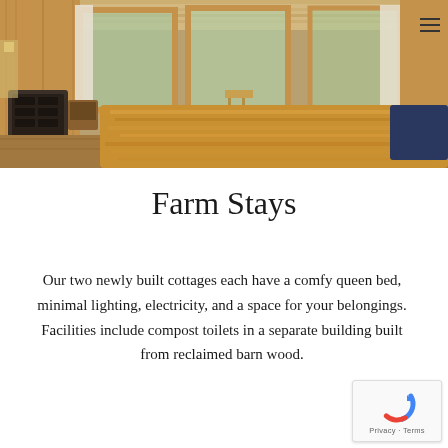[Figure (photo): Interior of a farm cottage showing a bed with golden/mustard colored bedding, wooden walls and floors, large windows with curtains letting in natural light, a wood stove on the left, and a small stool visible in the background.]
Farm Stays
Our two newly built cottages each have a comfy queen bed, minimal lighting, electricity, and a space for your belongings. Facilities include compost toilets in a separate building built from reclaimed barn wood.